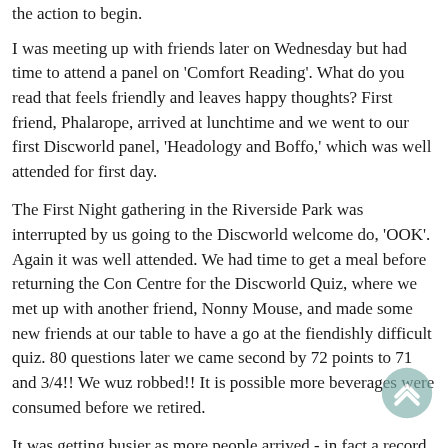the action to begin.
I was meeting up with friends later on Wednesday but had time to attend a panel on 'Comfort Reading'. What do you read that feels friendly and leaves happy thoughts? First friend, Phalarope, arrived at lunchtime and we went to our first Discworld panel, 'Headology and Boffo,' which was well attended for first day.
The First Night gathering in the Riverside Park was interrupted by us going to the Discworld welcome do, 'OOK'. Again it was well attended. We had time to get a meal before returning the Con Centre for the Discworld Quiz, where we met up with another friend, Nonny Mouse, and made some new friends at our table to have a go at the fiendishly difficult quiz. 80 questions later we came second by 72 points to 71 and 3/4!! We wuz robbed!! It is possible more beverages were consumed before we retired.
It was getting busier as more people arrived - in fact a record attendance of 5500 attendees where only 3500 were expected. It meant the Con suite eventually took over a whole floor of the hotel!